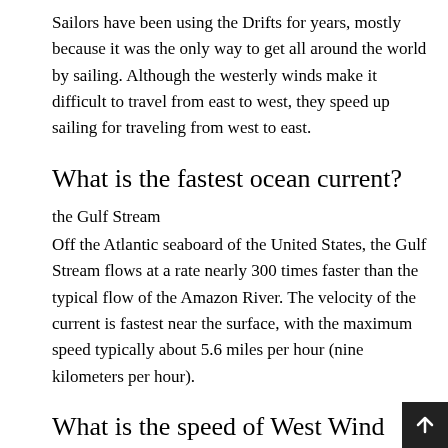Sailors have been using the Drifts for years, mostly because it was the only way to get all around the world by sailing. Although the westerly winds make it difficult to travel from east to west, they speed up sailing for traveling from west to east.
What is the fastest ocean current?
the Gulf Stream
Off the Atlantic seaboard of the United States, the Gulf Stream flows at a rate nearly 300 times faster than the typical flow of the Amazon River. The velocity of the current is fastest near the surface, with the maximum speed typically about 5.6 miles per hour (nine kilometers per hour).
What is the speed of West Wind Drift?
West Wind Drift, a current in the southern hemisph